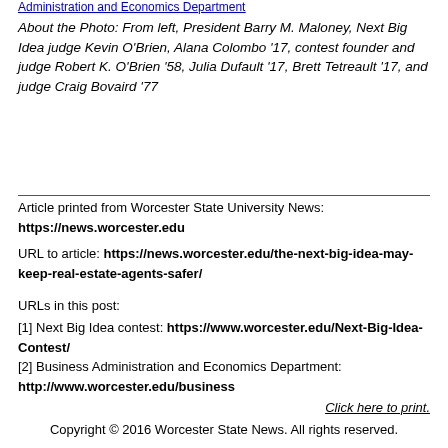Administration and Economics Department
About the Photo: From left, President Barry M. Maloney, Next Big Idea judge Kevin O'Brien, Alana Colombo '17, contest founder and judge Robert K. O'Brien '58, Julia Dufault '17, Brett Tetreault '17, and judge Craig Bovaird '77
Article printed from Worcester State University News: https://news.worcester.edu
URL to article: https://news.worcester.edu/the-next-big-idea-may-keep-real-estate-agents-safer/
URLs in this post:
[1] Next Big Idea contest: https://www.worcester.edu/Next-Big-Idea-Contest/
[2] Business Administration and Economics Department: http://www.worcester.edu/business
Click here to print.
Copyright © 2016 Worcester State News. All rights reserved.